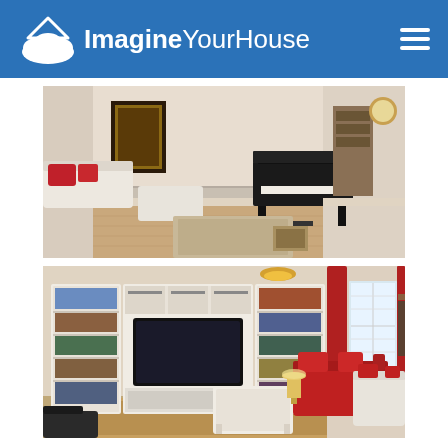ImagineYourHouse
[Figure (photo): Interior photo of a living room with white sofa, ottoman, red accent pillows, a framed poster on the wall, baseboard heaters, hardwood floor, and a black digital piano against the wall.]
[Figure (photo): Interior photo of a family room with large white built-in bookcase unit with TV, red curtains, bright window, red sofas, white coffee table, area rug, and a lamp on a side table.]